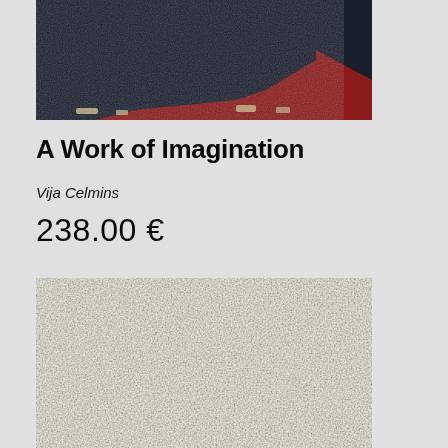[Figure (photo): Book cover with dark navy/black textured fabric and red background, partially torn or aged]
A Work of Imagination
Vija Celmins
238.00 €
[Figure (photo): Book page or paper texture showing a light cream/beige rough paper surface]